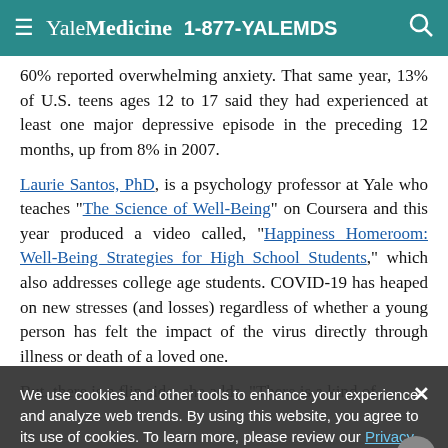≡ Yale Medicine 1-877-YALEMDS 🔍
60% reported overwhelming anxiety. That same year, 13% of U.S. teens ages 12 to 17 said they had experienced at least one major depressive episode in the preceding 12 months, up from 8% in 2007.
Laurie Santos, PhD, is a psychology professor at Yale who teaches "The Science of Well-Being" on Coursera and this year produced a video called, "Happiness Homeroom: Well-Being Strategies for High School Students," which also addresses college age students. COVID-19 has heaped on new stresses (and losses) regardless of whether a young person has felt the impact of the virus directly through illness or death of a loved one.
We use cookies and other tools to enhance your experience and analyze web trends. By using this website, you agree to its use of cookies. To learn more, please review our Privacy Policy.
But, there is a flip side, she adds. "There is a kind of